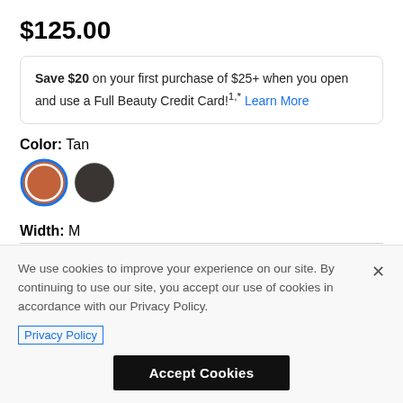$125.00
Save $20 on your first purchase of $25+ when you open and use a Full Beauty Credit Card!1,* Learn More
Color: Tan
[Figure (illustration): Two color swatches: a tan/brown circle (selected, with blue ring) and a dark brown/black circle]
Width: M
Size: Please select   Size Chart
We use cookies to improve your experience on our site. By continuing to use our site, you accept our use of cookies in accordance with our Privacy Policy.
Privacy Policy
Accept Cookies